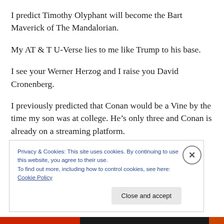I predict Timothy Olyphant will become the Bart Maverick of The Mandalorian.
My AT & T U-Verse lies to me like Trump to his base.
I see your Werner Herzog and I raise you David Cronenberg.
I previously predicted that Conan would be a Vine by the time my son was at college. He’s only three and Conan is already on a streaming platform.
Privacy & Cookies: This site uses cookies. By continuing to use this website, you agree to their use.
To find out more, including how to control cookies, see here: Cookie Policy
Close and accept